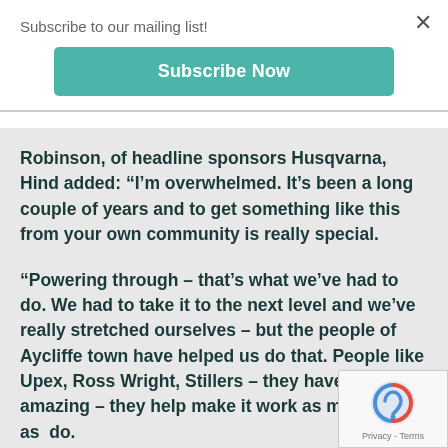Subscribe to our mailing list!
Subscribe Now
Robinson, of headline sponsors Husqvarna, Hind added: “I’m overwhelmed. It’s been a long couple of years and to get something like this from your own community is really special.
“Powering through – that’s what we’ve had to do. We had to take it to the next level and we’ve really stretched ourselves – but the people of Aycliffe town have helped us do that. People like Upex, Ross Wright, Stillers – they have been amazing – they help make it work as much as do.